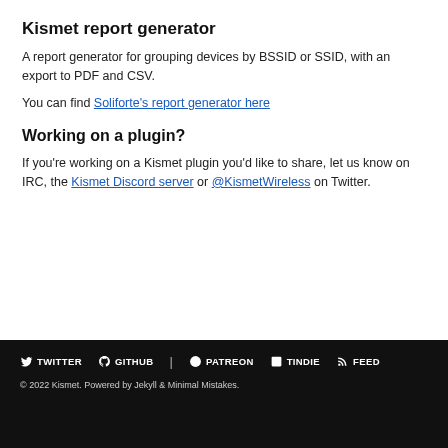Kismet report generator
A report generator for grouping devices by BSSID or SSID, with an export to PDF and CSV.
You can find Soliforte's report generator here
Working on a plugin?
If you're working on a Kismet plugin you'd like to share, let us know on IRC, the Kismet Discord server or @KismetWireless on Twitter.
TWITTER GITHUB PATREON TINDIE FEED
© 2022 Kismet. Powered by Jekyll & Minimal Mistakes.